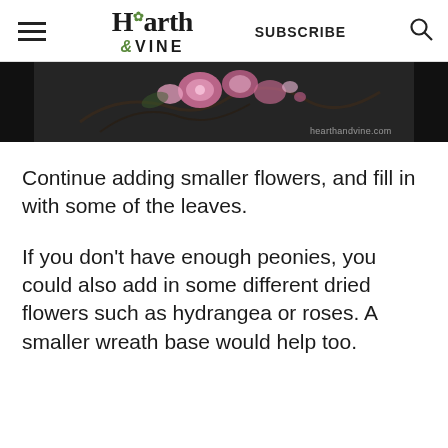Hearth & Vine | SUBSCRIBE
[Figure (photo): Partial photo of a dried flower wreath arrangement on a dark background with pink flowers and twigs, with watermark 'hearthandvine.com']
Continue adding smaller flowers, and fill in with some of the leaves.
If you don't have enough peonies, you could also add in some different dried flowers such as hydrangea or roses. A smaller wreath base would help too.